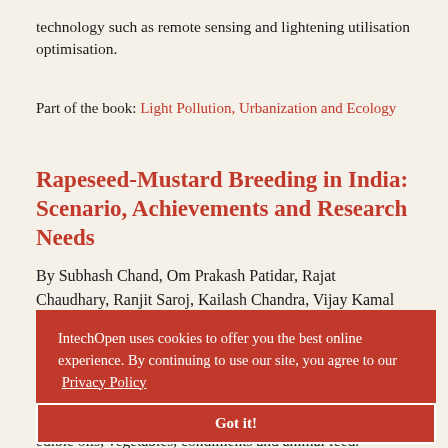technology such as remote sensing and lightening utilisation optimisation.
Part of the book: Light Pollution, Urbanization and Ecology
Rapeseed-Mustard Breeding in India: Scenario, Achievements and Research Needs
By Subhash Chand, Om Prakash Patidar, Rajat Chaudhary, Ranjit Saroj, Kailash Chandra, Vijay Kamal Meena, Omkar M. Limbalkar, Manoj Kumar Patel, Priya P. Pardeshi and Prashant Vasisth
Brassica spp., commonly known as rapeseed-mustard, hold significant role in the Indian economy by providing edible oils, vegetables, condiments and animal feed. Globally, India holds second and third position in rapeseed-mustard area under cultivation and production, respectively. However, anthropogenically
IntechOpen uses cookies to offer you the best online experience. By continuing to use our site, you agree to our Privacy Policy
Got it!